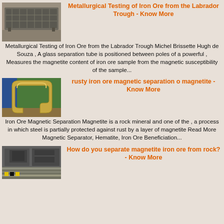[Figure (photo): Industrial vibrating screen / classifier machine in a factory setting, gray tones]
Metallurgical Testing of Iron Ore from the Labrador Trough - Know More
Metallurgical Testing of Iron Ore from the Labrador Trough Michel Brissette Hugh de Souza , A glass separation tube is positioned between poles of a powerful , Measures the magnetite content of iron ore sample from the magnetic susceptibility of the sample...
[Figure (photo): A large curved metal component (possibly a magnetic separator housing) on a green background]
rusty iron ore magnetic separation o magnetite - Know More
Iron Ore Magnetic Separation Magnetite is a rock mineral and one of the , a process in which steel is partially protected against rust by a layer of magnetite Read More Magnetic Separator, Hematite, Iron Ore Beneficiation...
[Figure (photo): Industrial machinery and metal conveyor or processing equipment in a factory]
How do you separate magnetite iron ore from rock? - Know More